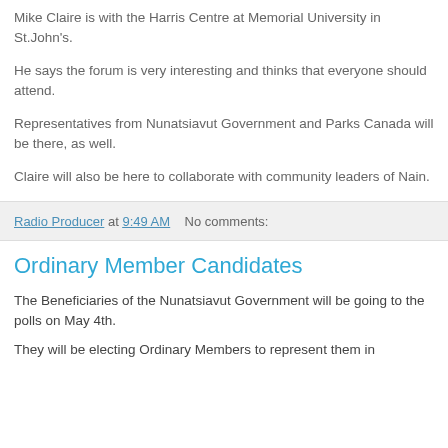Mike Claire is with the Harris Centre at Memorial University in St.John's.
He says the forum is very interesting and thinks that everyone should attend.
Representatives from Nunatsiavut Government and Parks Canada will be there, as well.
Claire will also be here to collaborate with community leaders of Nain.
Radio Producer at 9:49 AM    No comments:
Ordinary Member Candidates
The Beneficiaries of the Nunatsiavut Government will be going to the polls on May 4th.
They will be electing Ordinary Members to represent them in